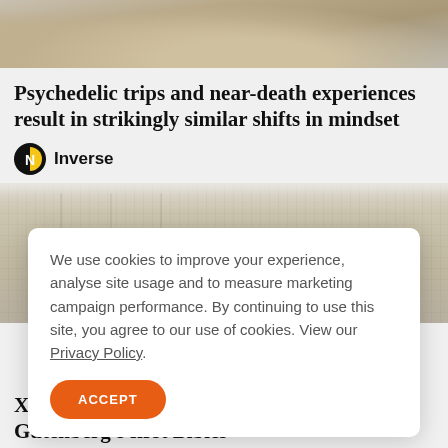[Figure (photo): Top portion of a rocky/stone outdoor scene, cropped at the bottom]
Psychedelic trips and near-death experiences result in strikingly similar shifts in mindset
Inverse
[Figure (photo): Ancient scroll or manuscript with Chinese/East Asian calligraphic text]
We use cookies to improve your experience, analyse site usage and to measure marketing campaign performance. By continuing to use this site, you agree to our use of cookies. View our Privacy Policy.
ACCEPT
X-rays could reveal the secrets hidden in Gutenberg's first Bibles